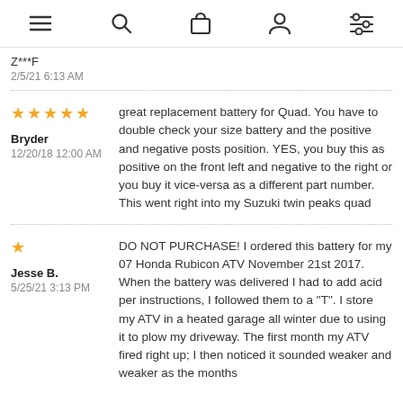Navigation bar with menu, search, cart, account, and filter icons
Z***F
2/5/21 6:13 AM
[Figure (other): 5 gold stars rating]
Bryder
12/20/18 12:00 AM
great replacement battery for Quad. You have to double check your size battery and the positive and negative posts position. YES, you buy this as positive on the front left and negative to the right or you buy it vice-versa as a different part number. This went right into my Suzuki twin peaks quad
[Figure (other): 1 gold star rating]
Jesse B.
5/25/21 3:13 PM
DO NOT PURCHASE! I ordered this battery for my 07 Honda Rubicon ATV November 21st 2017. When the battery was delivered I had to add acid per instructions, I followed them to a "T". I store my ATV in a heated garage all winter due to using it to plow my driveway. The first month my ATV fired right up; I then noticed it sounded weaker and weaker as the months